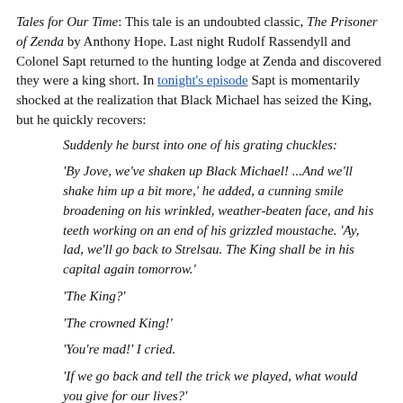Tales for Our Time: This tale is an undoubted classic, The Prisoner of Zenda by Anthony Hope. Last night Rudolf Rassendyll and Colonel Sapt returned to the hunting lodge at Zenda and discovered they were a king short. In tonight's episode Sapt is momentarily shocked at the realization that Black Michael has seized the King, but he quickly recovers:
Suddenly he burst into one of his grating chuckles:
'By Jove, we've shaken up Black Michael! ...And we'll shake him up a bit more,' he added, a cunning smile broadening on his wrinkled, weather-beaten face, and his teeth working on an end of his grizzled moustache. 'Ay, lad, we'll go back to Strelsau. The King shall be in his capital again tomorrow.'
'The King?'
'The crowned King!'
'You're mad!' I cried.
'If we go back and tell the trick we played, what would you give for our lives?'
'Just what they're worth,' said I.